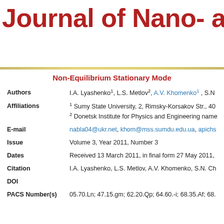Journal of Nano- and E
Non-Equilibrium Stationary Mode
| Field | Value |
| --- | --- |
| Authors | I.A. Lyashenko1, L.S. Metlov2, A.V. Khomenko1, S.N... |
| Affiliations | 1 Sumy State University, 2, Rimsky-Korsakov Str., 40...
2 Donetsk Institute for Physics and Engineering name... |
| E-mail | nabla04@ukr.net, khom@mss.sumdu.edu.ua, apichs... |
| Issue | Volume 3, Year 2011, Number 3 |
| Dates | Received 13 March 2011, in final form 27 May 2011, |
| Citation | I.A. Lyashenko, L.S. Metlov, A.V. Khomenko, S.N. Ch... |
| DOI |  |
| PACS Number(s) | 05.70.Ln; 47.15.gm; 62.20.Qp; 64.60.-i; 68.35.Af; 68. |